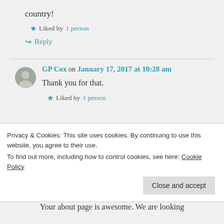country!
★ Liked by 1 person
↪ Reply
GP Cox on January 17, 2017 at 10:28 am
Thank you for that.
★ Liked by 1 person
Privacy & Cookies: This site uses cookies. By continuing to use this website, you agree to their use. To find out more, including how to control cookies, see here: Cookie Policy
Close and accept
Your about page is awesome. We are looking